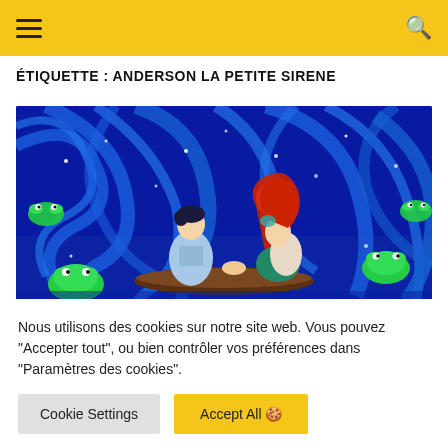Navigation header with hamburger menu and search icon
ÉTIQUETTE : ANDERSON LA PETITE SIRENE
[Figure (illustration): Animated scene from The Little Mermaid showing Ariel with red hair and Prince Eric in a boat, surrounded by blue swirling water effects and green frogs, dark blue underwater atmosphere with sparkling lights]
Nous utilisons des cookies sur notre site web. Vous pouvez "Accepter tout", ou bien contrôler vos préférences dans "Paramètres des cookies".
Cookie Settings | Accept All